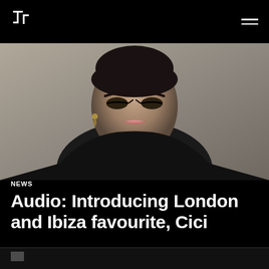Toolroom Records logo and navigation
[Figure (photo): Close-up portrait of a young woman with dark hair in a bun, wearing dramatic cat-eye makeup and earrings, dressed in a black puffer jacket, photographed against a grey background.]
NEWS
Audio: Introducing London and Ibiza favourite, Cici
[Figure (photo): Partially visible second image at the bottom of the page, mostly black/dark.]